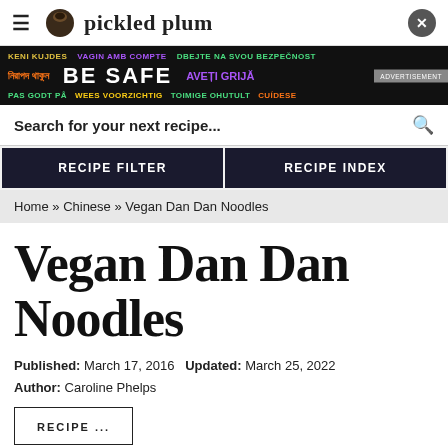pickled plum
[Figure (infographic): Public health advertisement banner with multilingual 'BE SAFE' message in dark background]
Search for your next recipe...
RECIPE FILTER
RECIPE INDEX
Home » Chinese » Vegan Dan Dan Noodles
Vegan Dan Dan Noodles
Published: March 17, 2016   Updated: March 25, 2022
Author: Caroline Phelps
RECIPE...